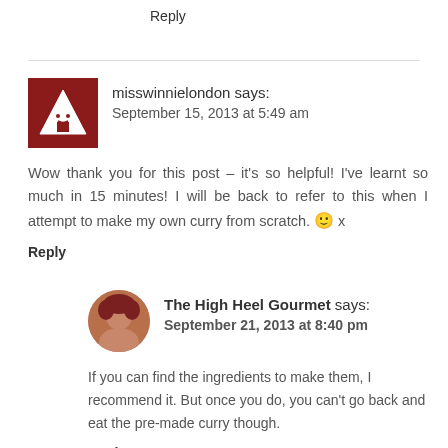Reply
misswinnielondon says:
September 15, 2013 at 5:49 am
Wow thank you for this post – it's so helpful! I've learnt so much in 15 minutes! I will be back to refer to this when I attempt to make my own curry from scratch. 🙂 x
Reply
The High Heel Gourmet says:
September 21, 2013 at 8:40 pm
If you can find the ingredients to make them, I recommend it. But once you do, you can't go back and eat the pre-made curry though.
Reply